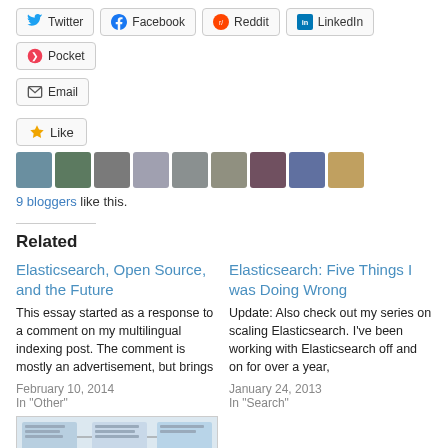[Figure (other): Row of social share buttons: Twitter, Facebook, Reddit, LinkedIn, Pocket]
[Figure (other): Email share button]
[Figure (other): Like button with star icon and 9 blogger avatars]
9 bloggers like this.
Related
Elasticsearch, Open Source, and the Future
This essay started as a response to a comment on my multilingual indexing post. The comment is mostly an advertisement, but brings
February 10, 2014
In "Other"
Elasticsearch: Five Things I was Doing Wrong
Update: Also check out my series on scaling Elasticsearch. I've been working with Elasticsearch off and on for over a year,
January 24, 2013
In "Search"
[Figure (screenshot): Thumbnail image of a flowchart or diagram document]